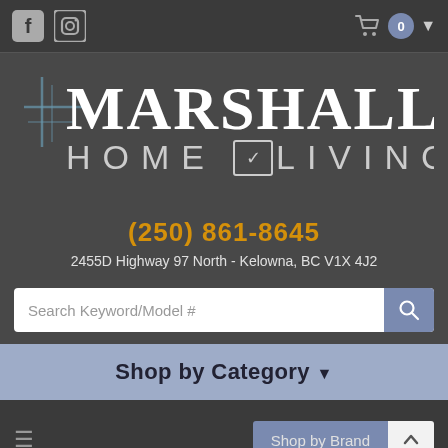[Figure (screenshot): Top navigation bar with Facebook and Instagram social icons on left, shopping cart with badge showing 0 and dropdown arrow on right]
[Figure (logo): Marshall's Home Living logo - large white text on dark gray background with crosshatch lines and a chair icon in a box]
(250) 861-8645
2455D Highway 97 North - Kelowna, BC V1X 4J2
[Figure (screenshot): Search bar with placeholder text 'Search Keyword/Model #' and blue/gray search button with magnifying glass icon]
Shop by Category
[Figure (screenshot): Bottom navigation bar with hamburger menu icon on left and Shop by Brand button with scroll-to-top button on right]